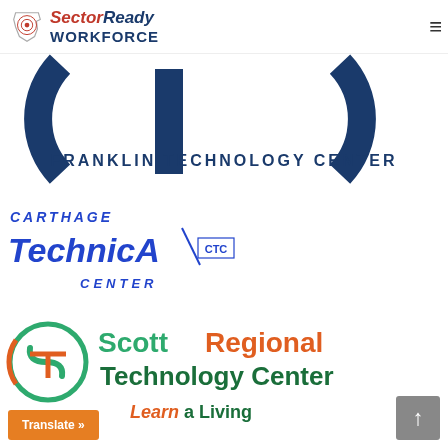SectorReady WORKFORCE
[Figure (logo): Franklin Technology Center logo — large dark navy letters FTC with circular arc, text 'FRANKLIN TECHNOLOGY CENTER' below]
[Figure (logo): Carthage Technical Center logo — blue italic 'CARTHAGE' above bold blue 'TechnicA' with CTC monogram and 'CENTER' below]
[Figure (logo): Scott Regional Technology Center logo — green and orange 'ScottRegional Technology Center' with circular S-T icon, tagline 'Learn a Living']
Translate »
↑